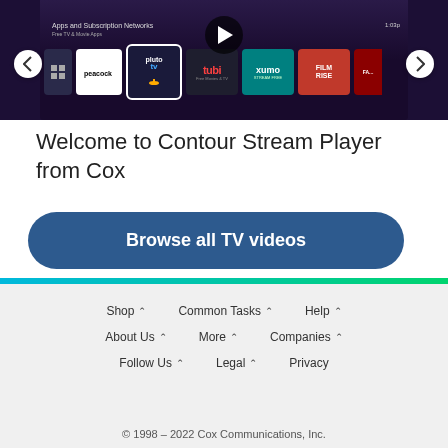[Figure (screenshot): Screenshot of Cox Contour Stream Player TV app interface showing Apps and Subscription Networks screen with logos for Peacock, Pluto TV, Tubi, Xumo, Filmrise, and other streaming apps. Navigation arrows on left and right sides.]
Welcome to Contour Stream Player from Cox
Browse all TV videos
Shop  Common Tasks  Help  About Us  More  Companies  Follow Us  Legal  Privacy  © 1998 – 2022 Cox Communications, Inc.